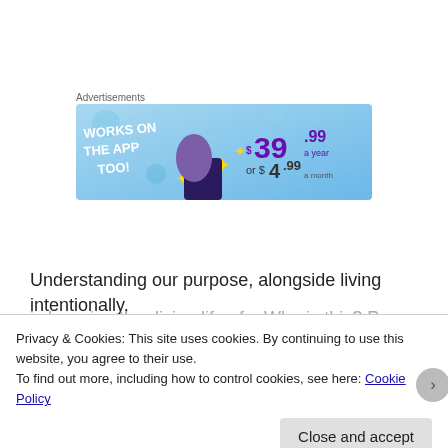Advertisements
[Figure (screenshot): Advertisement banner with blue background showing 'WORKS ON THE APP TOO!' in white text on left, and pricing '$39.99 a year or $4.99 a month' in purple text on right, with decorative stars and a purple/dark shape at bottom.]
Understanding our purpose, alongside living intentionally,
Privacy & Cookies: This site uses cookies. By continuing to use this website, you agree to their use.
To find out more, including how to control cookies, see here: Cookie Policy
Close and accept